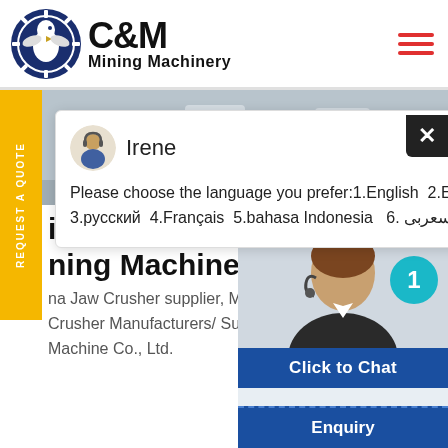[Figure (logo): C&M Mining Machinery logo with eagle/gear icon in dark blue circle, company name in bold black text]
[Figure (photo): Industrial machinery/equipment in a factory setting, grayscale background hero image]
REQUEST A QUOTE
Irene
Please choose the language you prefer:1.English  2.Español 3.русский  4.Français  5.bahasa Indonesia   6. عربسعربی
ina Jaw Crusher man hing Machinery, Cone
na Jaw Crusher supplier, Mining Crusher Manufacturers/ Suppliers Machine Co., Ltd.
[Figure (photo): Female customer service agent wearing headset, smiling, with teal badge showing number 1, Click to Chat button, and Enquiry button below]
Click to Chat
Enquiry